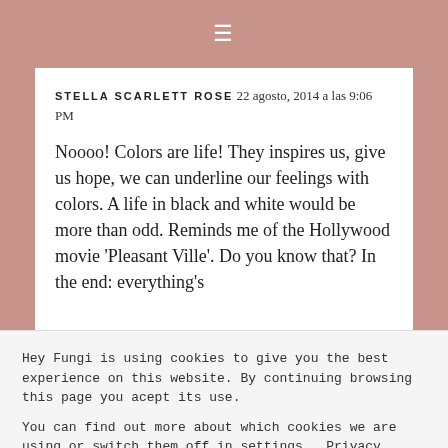≡
STELLA SCARLETT ROSE 22 agosto, 2014 a las 9:06 PM
Noooo! Colors are life! They inspires us, give us hope, we can underline our feelings with colors. A life in black and white would be more than odd. Reminds me of the Hollywood movie 'Pleasant Ville'. Do you know that? In the end: everything's
Hey Fungi is using cookies to give you the best experience on this website. By continuing browsing this page you acept its use.

You can find out more about which cookies we are using or switch them off in settings . Privacy Policy
Close & Accept
RESPONDER